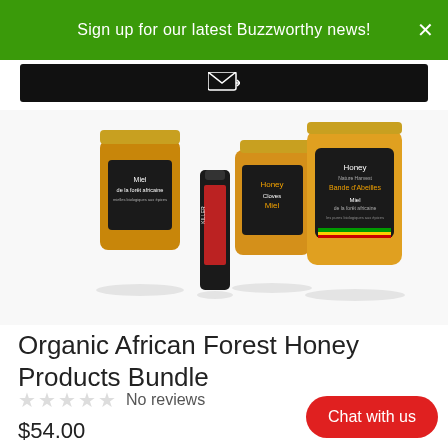Sign up for our latest Buzzworthy news!
[Figure (screenshot): Email subscription input bar with envelope/arrow icon on dark background]
[Figure (photo): Array of African Forest Honey product jars and bottles displayed on white background]
Organic African Forest Honey Products Bundle
☆☆☆☆☆ No reviews
$54.00
[Figure (photo): Cardboard box with African Bronze Honey Company logo/seal at bottom of page]
Chat with us